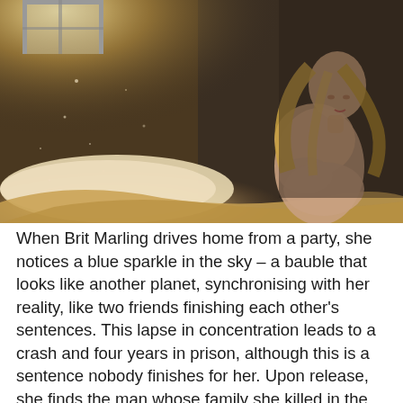[Figure (photo): A woman with long blonde hair sits on a bed in a dimly lit room, hugging her knees. The room has a warm, dusty light coming from a window on the left, illuminating dust particles in the air. A white pillow and golden/tan bedding are visible in the foreground.]
When Brit Marling drives home from a party, she notices a blue sparkle in the sky – a bauble that looks like another planet, synchronising with her reality, like two friends finishing each other's sentences. This lapse in concentration leads to a crash and four years in prison, although this is a sentence nobody finishes for her. Upon release, she finds the man whose family she killed in the accident, and offers her services as a cleaner. (It's a